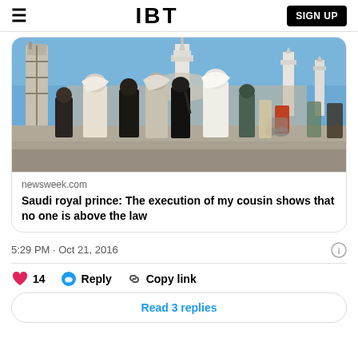IBT  SIGN UP
[Figure (photo): Crowd of Muslim pilgrims walking near mosque minarets in Mecca, Saudi Arabia. Women in abayas and hijabs, some in wheelchairs, with white minarets visible against a blue sky.]
newsweek.com
Saudi royal prince: The execution of my cousin shows that no one is above the law
5:29 PM · Oct 21, 2016
❤ 14   💬 Reply   🔗 Copy link
Read 3 replies